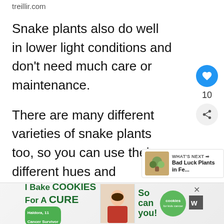treillir.com
Snake plants also do well in lower light conditions and don’t need much care or maintenance.
There are many different varieties of snake plants too, so you can use their different hues and variegations to add interest and movement!
Orchid
[Figure (screenshot): Advertisement banner: I Bake COOKIES For A CURE - Haldora, 11 Cancer Survivor - So can you! - cookies for kids cancer logo]
O...arlings,